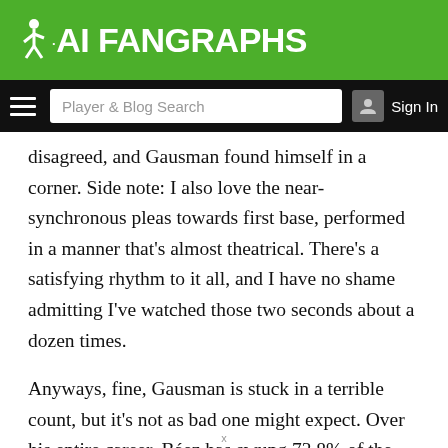FanGraphs
disagreed, and Gausman found himself in a corner. Side note: I also love the near-synchronous pleas towards first base, performed in a manner that’s almost theatrical. There’s a satisfying rhythm to it all, and I have no shame admitting I’ve watched those two seconds about a dozen times.
Anyways, fine, Gausman is stuck in a terrible count, but it’s not as bad one might expect. Over his entire career, Báez has swung 73.8% of the time in 3–1 counts, an astronomical rate emblematic of his horrid discipline. All that’s required is a decent-enough pitch that doesn’t leak over the heart of the plate.